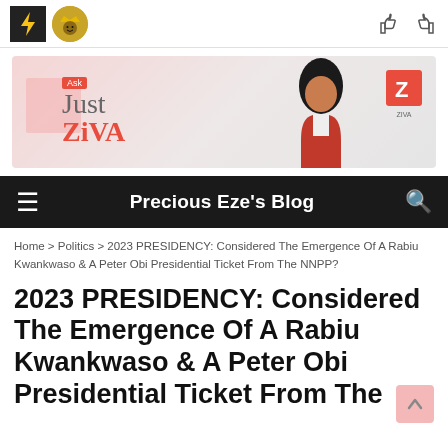Precious Eze's Blog – top navigation bar with hamburger menu and search
[Figure (illustration): Just Ask ZiVA advertisement banner with woman in red jacket and Z logo]
Home > Politics > 2023 PRESIDENCY: Considered The Emergence Of A Rabiu Kwankwaso & A Peter Obi Presidential Ticket From The NNPP?
2023 PRESIDENCY: Considered The Emergence Of A Rabiu Kwankwaso & A Peter Obi Presidential Ticket From The